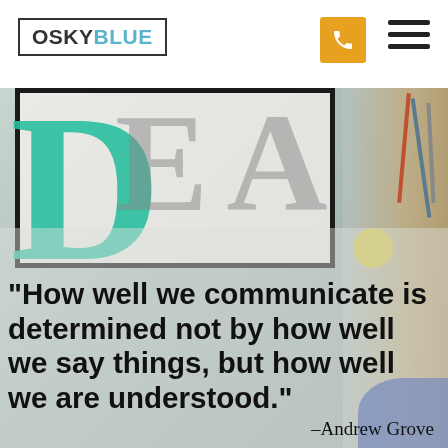[Figure (logo): OSKYBLUE logo in a rectangular border. 'OSKY' in dark gray and 'BLUE' in light blue, sans-serif font.]
[Figure (other): Orange phone/call button icon (rounded square with telephone handset icon)]
[Figure (other): Hamburger menu icon — three horizontal dark bars]
[Figure (photo): Background photo of a design/sketch workspace showing a monitor or whiteboard with large hand-drawn letters 'IDEA', the D rendered in teal/green color, with pencils and design tools in the background. The image is slightly muted/desaturated.]
“How well we communicate is determined not by how well we say things, but how well we are understood.”
–Andrew Grove